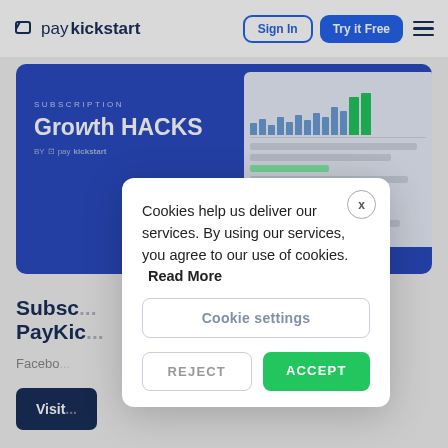paykickstart — Sign In | Try it Free | Menu
[Figure (screenshot): PayKickstart website hero banner showing 'SUBSCRIPTION Growth HACKS by PayKickstart' with a dashboard screenshot on the right side, blue background]
Subsc... PayKic...
Facebo...
Visit...
Cookies help us deliver our services. By using our services, you agree to our use of cookies. Read More
Cookie settings
REJECT
ACCEPT